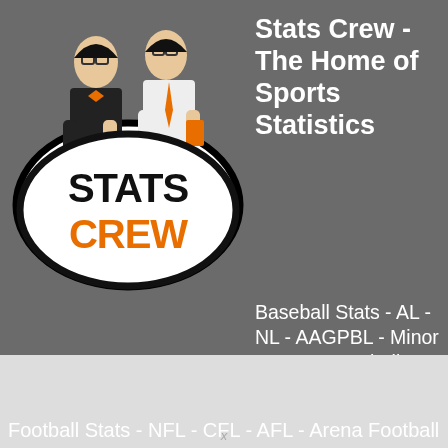[Figure (logo): Stats Crew logo featuring two illustrated men in suits with glasses, one holding a laptop, with a large black and white oval containing 'STATS CREW' text in black and orange]
Stats Crew - The Home of Sports Statistics
Baseball Stats - AL - NL - AAGPBL - Minor League Baseball - Search
Basketball Stats - NBA - ABA - WNBA/Women's - G-League/D-League - Minor League Basketball - Search
Football Stats - NFL - CFL - AFL - Arena Football - Indoor Football - Search